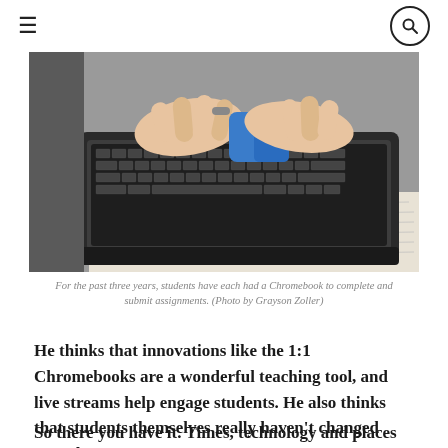≡  🔍
[Figure (photo): Close-up photo of hands typing on a Chromebook keyboard resting on an open book/textbook. The person is wearing a blue wristband.]
For the past three years, students have each had a Chromebook to complete and submit assignments. (Photo by Grayson Zoller)
He thinks that innovations like the 1:1 Chromebooks are a wonderful teaching tool, and live streams help engage students. He also thinks that students themselves really haven't changed over the years.
So there you have it. Times, technology and places may